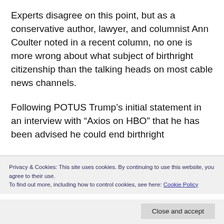Experts disagree on this point, but as a conservative author, lawyer, and columnist Ann Coulter noted in a recent column, no one is more wrong about what subject of birthright citizenship than the talking heads on most cable news channels.
Following POTUS Trump's initial statement in an interview with “Axios on HBO” that he has been advised he could end birthright
Privacy & Cookies: This site uses cookies. By continuing to use this website, you agree to their use. To find out more, including how to control cookies, see here: Cookie Policy
constitutional no nothing because how the